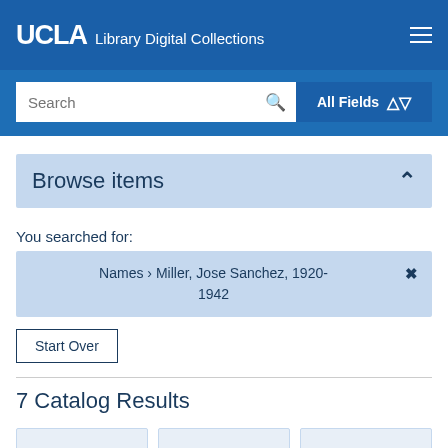UCLA Library Digital Collections
Browse items
You searched for:
Names › Miller, Jose Sanchez, 1920-1942
Start Over
7 Catalog Results